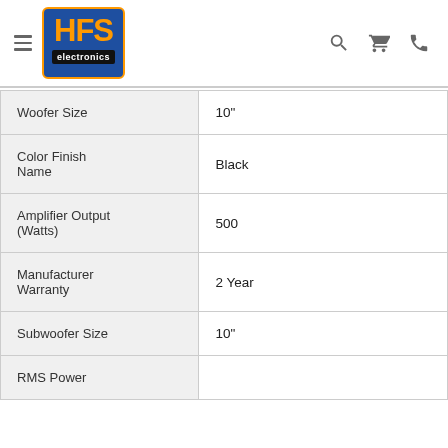HFS Electronics
| Attribute | Value |
| --- | --- |
| Woofer Size | 10" |
| Color Finish Name | Black |
| Amplifier Output (Watts) | 500 |
| Manufacturer Warranty | 2 Year |
| Subwoofer Size | 10" |
| RMS Power |  |